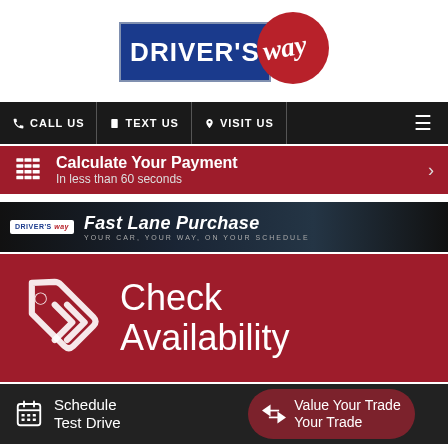[Figure (logo): Driver's Way logo with blue rectangle containing white text 'DRIVER'S' and a red circle with cursive 'way' text]
[Figure (infographic): Navigation bar with phone icon CALL US, mobile icon TEXT US, pin icon VISIT US, and hamburger menu]
[Figure (infographic): Red banner: Calculate Your Payment - In less than 60 seconds]
[Figure (infographic): Fast Lane Purchase banner - YOUR CAR, YOUR WAY, ON YOUR SCHEDULE]
[Figure (infographic): Red banner with price tag icon: Check Availability]
[Figure (infographic): Dark bar with calendar icon: Schedule Test Drive and Value Your Trade buttons]